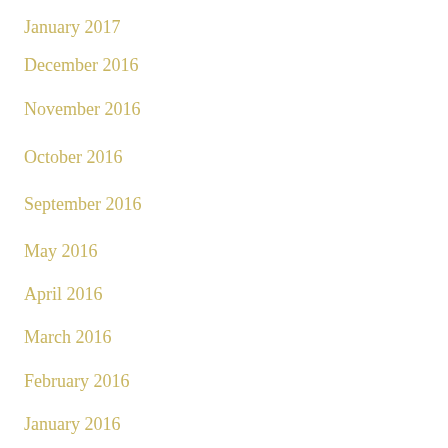January 2017
December 2016
November 2016
October 2016
September 2016
May 2016
April 2016
March 2016
February 2016
January 2016
December 2015